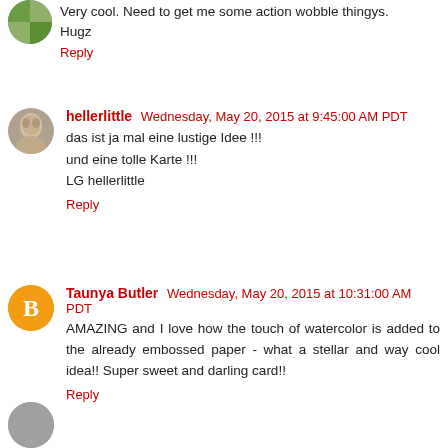Very cool. Need to get me some action wobble thingys. Hugz
Reply
hellerlittle  Wednesday, May 20, 2015 at 9:45:00 AM PDT
das ist ja mal eine lustige Idee !!!
und eine tolle Karte !!!
LG hellerlittle
Reply
Taunya Butler  Wednesday, May 20, 2015 at 10:31:00 AM PDT
AMAZING and I love how the touch of watercolor is added to the already embossed paper - what a stellar and way cool idea!! Super sweet and darling card!!
Reply